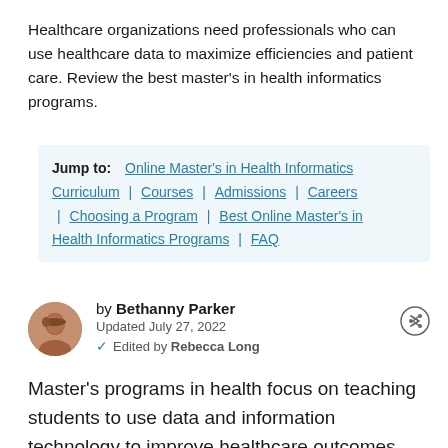Healthcare organizations need professionals who can use healthcare data to maximize efficiencies and patient care. Review the best master's in health informatics programs.
Jump to: Online Master's in Health Informatics Curriculum | Courses | Admissions | Careers | Choosing a Program | Best Online Master's in Health Informatics Programs | FAQ
by Bethanny Parker
Updated July 27, 2022
Edited by Rebecca Long
Master's programs in health focus on teaching students to use data and information technology to improve healthcare outcomes. Over the course of roughly two years, health informatics students master